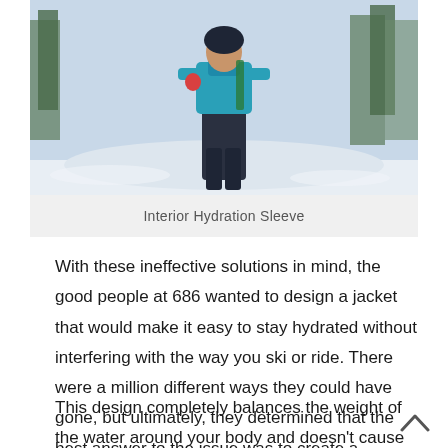[Figure (photo): Person wearing a teal/blue ski jacket and dark ski pants standing in snow with trees in background, demonstrating the Interior Hydration Sleeve feature]
Interior Hydration Sleeve
With these ineffective solutions in mind, the good people at 686 wanted to design a jacket that would make it easy to stay hydrated without interfering with the way you ski or ride. There were a million different ways they could have gone, but ultimately, they determined that the best answer to the issue was to create a reservoir that was contoured around the body in the powder skirt.
This design completely balances the weight of the water around your body and doesn't cause any imbalances as you